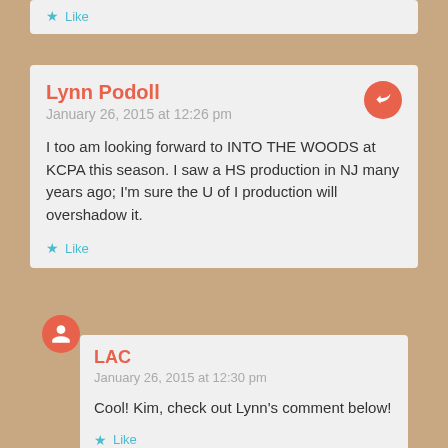Like
Lynn Podoll
January 26, 2015 at 12:26 pm

I too am looking forward to INTO THE WOODS at KCPA this season. I saw a HS production in NJ many years ago; I'm sure the U of I production will overshadow it.

Like
LAC
January 26, 2015 at 12:30 pm

Cool! Kim, check out Lynn's comment below!

Like